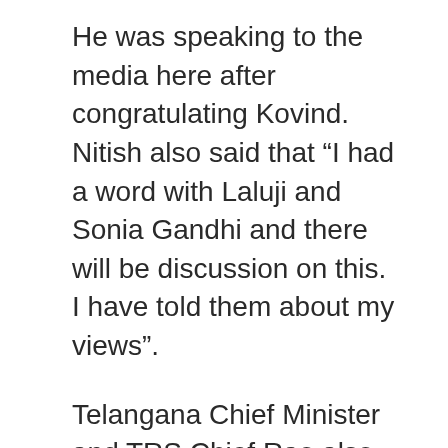He was speaking to the media here after congratulating Kovind. Nitish also said that “I had a word with Laluji and Sonia Gandhi and there will be discussion on this. I have told them about my views”.
Telangana Chief Minister and TRS Chief Rao also extended his support to NDA’s presidential candidate after speaking to Prime Minister Modi.
Earlier on Monday, BJP president Amit Shah announced the name of Kovind as NDA’s consensus candidate for the post of Indian President.
Kovind before leaving for New Delhi yesterday met with Prime Minister Narendra